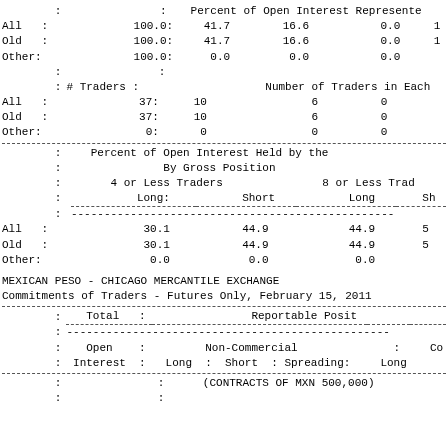|  | Total | Percent of Open Interest Represented |  |  |  |
| --- | --- | --- | --- | --- | --- |
| All | 100.0: | 41.7 | 16.6 | 0.0 |  |
| Old | 100.0: | 41.7 | 16.6 | 0.0 |  |
| Other: | 100.0: | 0.0 | 0.0 | 0.0 |  |
|  | # Traders | Number of Traders in Each |  |  |  |
| --- | --- | --- | --- | --- | --- |
| All | 37: | 10 | 6 | 0 |  |
| Old | 37: | 10 | 6 | 0 |  |
| Other: | 0: | 0 | 0 | 0 |  |
|  |  | Percent of Open Interest Held by the | By Gross Position | 4 or Less Traders | 8 or Less Traders |
| --- | --- | --- | --- | --- | --- |
|  |  | Long: | Short | Long | Sh |
| All |  | 30.1 | 44.9 | 44.9 | 5 |
| Old |  | 30.1 | 44.9 | 44.9 | 5 |
| Other: |  | 0.0 | 0.0 | 0.0 |  |
MEXICAN PESO - CHICAGO MERCANTILE EXCHANGE
Commitments of Traders - Futures Only, February 15, 2011
|  | Total | Reportable Posit |
| --- | --- | --- |
|  | Open | Non-Commercial | Co |
|  | Interest | Long : Short : Spreading: | Long |
(CONTRACTS OF MXN 500,000)